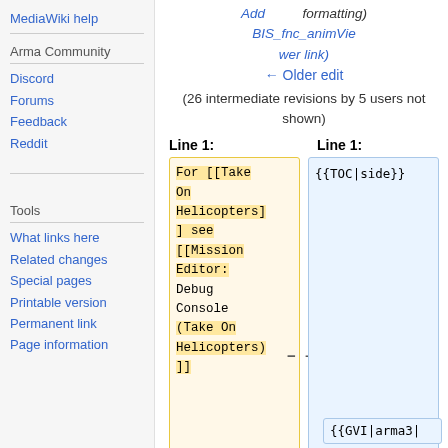MediaWiki help
Arma Community
Discord
Forums
Feedback
Reddit
Tools
What links here
Related changes
Special pages
Printable version
Permanent link
Page information
Add BIS_fnc_animViewer link) formatting)
← Older edit
(26 intermediate revisions by 5 users not shown)
Line 1: (left) — For [[Take On Helicopters] ] see [[Mission Editor: Debug Console (Take On Helicopters)]]
Line 1: (right) — {{TOC|side}}
{{GVI|arma3|